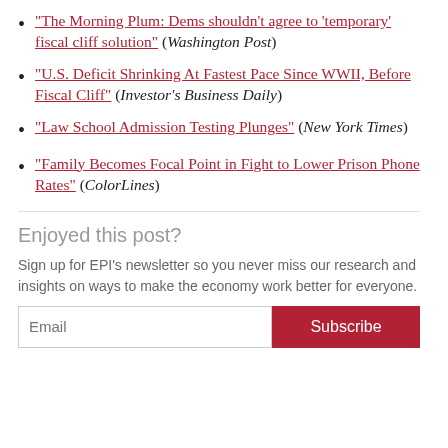"The Morning Plum: Dems shouldn't agree to 'temporary' fiscal cliff solution" (Washington Post)
"U.S. Deficit Shrinking At Fastest Pace Since WWII, Before Fiscal Cliff" (Investor's Business Daily)
"Law School Admission Testing Plunges" (New York Times)
"Family Becomes Focal Point in Fight to Lower Prison Phone Rates" (ColorLines)
Enjoyed this post?
Sign up for EPI's newsletter so you never miss our research and insights on ways to make the economy work better for everyone.